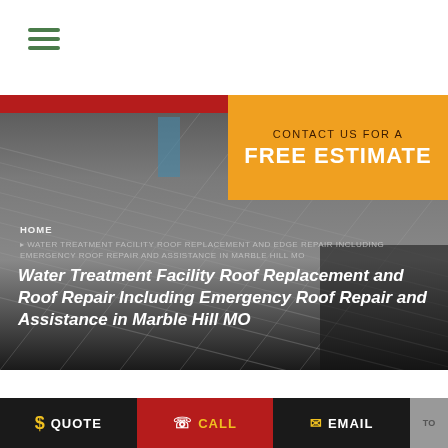[Figure (screenshot): Navigation bar with hamburger menu icon (three green horizontal lines) on white background]
[Figure (photo): Roof shingles/tiles close-up photo used as hero background image with red accent bar at top]
CONTACT US FOR A FREE ESTIMATE
HOME
WATER TREATMENT FACILITY ROOF REPLACEMENT AND EDGE REPAIR INCLUDING EMERGENCY ROOF REPAIR AND ASSISTANCE IN MARBLE HILL MO
Water Treatment Facility Roof Replacement and Roof Repair Including Emergency Roof Repair and Assistance in Marble Hill MO
$ QUOTE  ✆ CALL  ✉ EMAIL